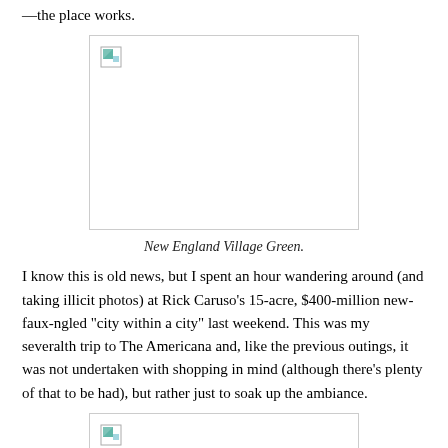—the place works.
[Figure (photo): Broken image placeholder representing New England Village Green photo]
New England Village Green.
I know this is old news, but I spent an hour wandering around (and taking illicit photos) at Rick Caruso's 15-acre, $400-million new-faux-ngled "city within a city" last weekend. This was my severalth trip to The Americana and, like the previous outings, it was not undertaken with shopping in mind (although there's plenty of that to be had), but rather just to soak up the ambiance.
[Figure (photo): Broken image placeholder for second photo]